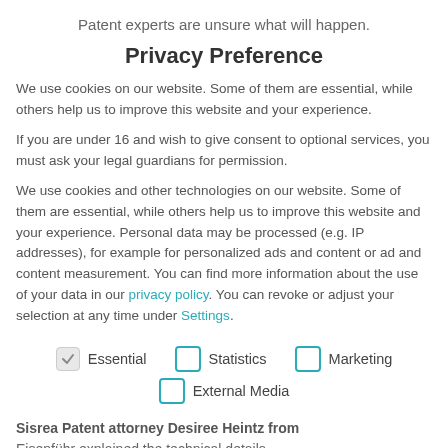Patent experts are unsure what will happen.
Privacy Preference
We use cookies on our website. Some of them are essential, while others help us to improve this website and your experience.
If you are under 16 and wish to give consent to optional services, you must ask your legal guardians for permission.
We use cookies and other technologies on our website. Some of them are essential, while others help us to improve this website and your experience. Personal data may be processed (e.g. IP addresses), for example for personalized ads and content or ad and content measurement. You can find more information about the use of your data in our privacy policy. You can revoke or adjust your selection at any time under Settings.
Essential (checked), Statistics (unchecked), Marketing (unchecked), External Media (unchecked)
Sisrea Patent attorney Desiree Heintz from Eisenführ explained the technical details.